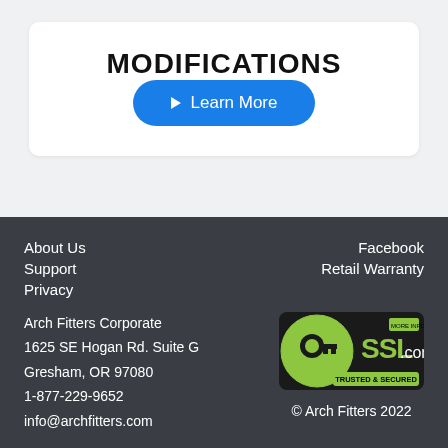MODIFICATIONS
Learn More
About Us
Support
Privacy
Facebook
Retail Warranty
Arch Fitters Corporate
1625 SE Hogan Rd. Suite G
Gresham, OR 97080
1-877-229-9652
info@archfitters.com
[Figure (logo): SSL.com Trusted & Secured badge with key icon]
© Arch Fitters 2022